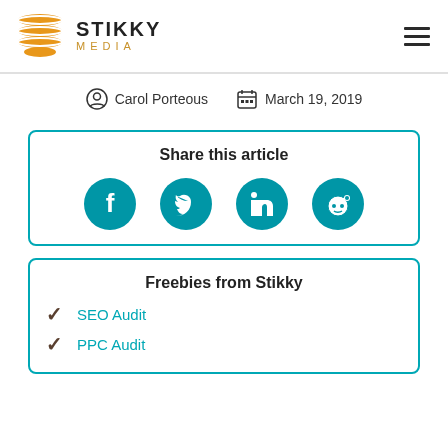[Figure (logo): Stikky Media logo with orange stacked lines icon and text 'STIKKY MEDIA']
Carol Porteous   March 19, 2019
Share this article
[Figure (infographic): Social sharing icons: Facebook, Twitter, LinkedIn, Reddit]
Freebies from Stikky
SEO Audit
PPC Audit